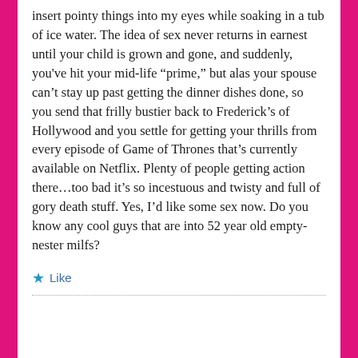insert pointy things into my eyes while soaking in a tub of ice water. The idea of sex never returns in earnest until your child is grown and gone, and suddenly, you've hit your mid-life “prime,” but alas your spouse can’t stay up past getting the dinner dishes done, so you send that frilly bustier back to Frederick’s of Hollywood and you settle for getting your thrills from every episode of Game of Thrones that’s currently available on Netflix. Plenty of people getting action there…too bad it’s so incestuous and twisty and full of gory death stuff. Yes, I’d like some sex now. Do you know any cool guys that are into 52 year old empty-nester milfs?
★ Like
...